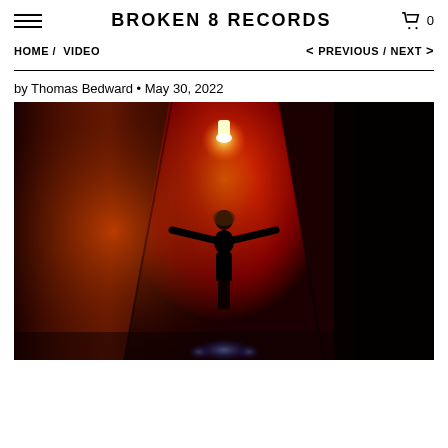BROKEN 8 RECORDS
HOME / VIDEO
< PREVIOUS / NEXT >
by Thomas Bedward • May 30, 2022
[Figure (photo): Silhouette of a person with arms outstretched standing in a red-lit corridor or hallway, viewed from behind, with a bright light above and blue lights below at the far end.]